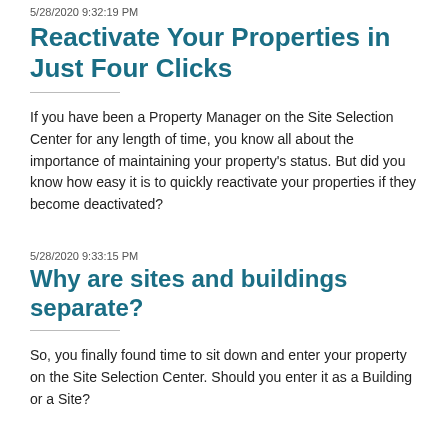5/28/2020 9:32:19 PM
Reactivate Your Properties in Just Four Clicks
If you have been a Property Manager on the Site Selection Center for any length of time, you know all about the importance of maintaining your property's status. But did you know how easy it is to quickly reactivate your properties if they become deactivated?
5/28/2020 9:33:15 PM
Why are sites and buildings separate?
So, you finally found time to sit down and enter your property on the Site Selection Center. Should you enter it as a Building or a Site?